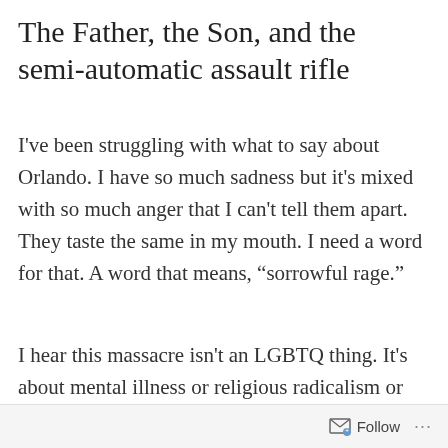The Father, the Son, and the semi-automatic assault rifle
I've been struggling with what to say about Orlando. I have so much sadness but it's mixed with so much anger that I can't tell them apart. They taste the same in my mouth. I need a word for that. A word that means, "sorrowful rage."
I hear this massacre isn't an LGBTQ thing. It's about mental illness or religious radicalism or easy access to firearms in a country awash in them, but it could have happened anywhere. A
Follow ···